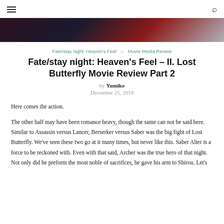≡   🔍
[Figure (photo): Hero image showing a dark anime scene with red and grey tones from Fate/stay night: Heaven's Feel]
Fate/stay night: Heaven's Feel  ◇  Movie Media Review
Fate/stay night: Heaven's Feel – II. Lost Butterfly Movie Review Part 2
by Yumiko
December 25, 2019
Here comes the action.
The other half may have been romance heavy, though the same can not be said here. Similar to Assassin versus Lancer, Berserker versus Saber was the big fight of Lost Butterfly. We've seen these two go at it many times, but never like this. Saber Alter is a force to be reckoned with. Even with that said, Archer was the true hero of that night. Not only did he preform the most noble of sacrifices, he gave his arm to Shirou. Let's